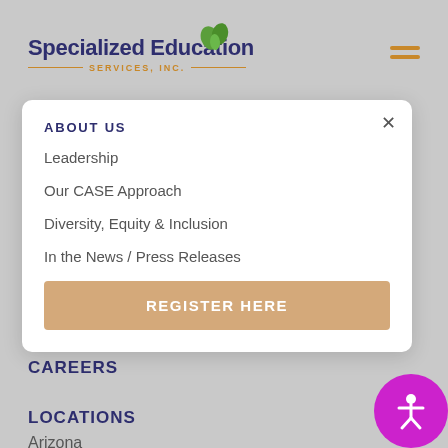[Figure (logo): Specialized Education Services, Inc. logo with green plant icon and orange decorative lines]
Best Practices for Responding to Student Behavior Webinar Series
Learn how to respond to student behavior and encourage appropriate classroom behavior in our new webinar series.
ABOUT US
Leadership
Our CASE Approach
Diversity, Equity & Inclusion
In the News / Press Releases
REGISTER HERE
CAREERS
LOCATIONS
Arizona
[Figure (illustration): Magenta circular accessibility button with white stick figure / person icon]